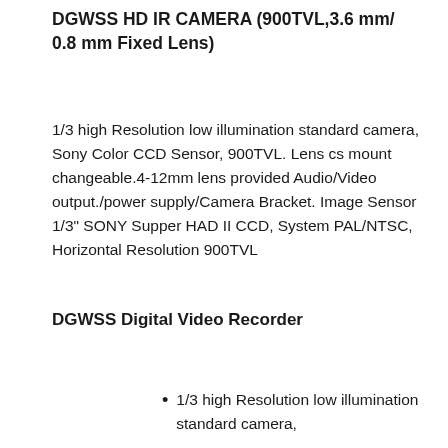DGWSS HD IR CAMERA (900TVL,3.6 mm/ 0.8 mm Fixed Lens)
1/3 high Resolution low illumination standard camera, Sony Color CCD Sensor, 900TVL. Lens cs mount changeable.4-12mm lens provided Audio/Video output./power supply/Camera Bracket. Image Sensor 1/3" SONY Supper HAD II CCD, System PAL/NTSC, Horizontal Resolution 900TVL
DGWSS Digital Video Recorder
1/3 high Resolution low illumination standard camera,